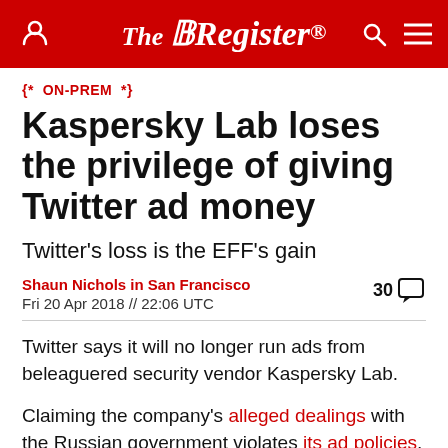The Register
{* ON-PREM *}
Kaspersky Lab loses the privilege of giving Twitter ad money
Twitter's loss is the EFF's gain
Shaun Nichols in San Francisco
Fri 20 Apr 2018 // 22:06 UTC
30 comments
Twitter says it will no longer run ads from beleaguered security vendor Kaspersky Lab.
Claiming the company's alleged dealings with the Russian government violates its ad policies, the 280-character shoutfest site says Kaspersky's advertising